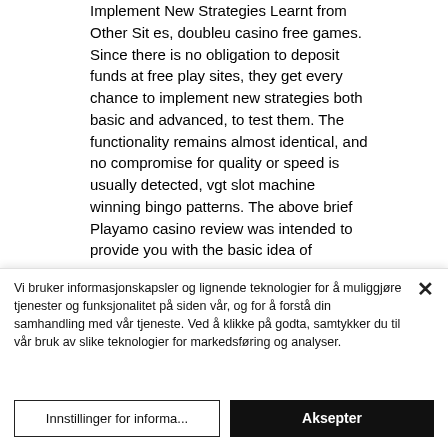Implement New Strategies Learnt from Other Sit es, doubleu casino free games. Since there is no obligation to deposit funds at free play sites, they get every chance to implement new strategies both basic and advanced, to test them. The functionality remains almost identical, and no compromise for quality or speed is usually detected, vgt slot machine winning bingo patterns. The above brief Playamo casino review was intended to provide you with the basic idea of
Vi bruker informasjonskapsler og lignende teknologier for å muliggjøre tjenester og funksjonalitet på siden vår, og for å forstå din samhandling med vår tjeneste. Ved å klikke på godta, samtykker du til vår bruk av slike teknologier for markedsføring og analyser.
Innstillinger for informa...
Aksepter